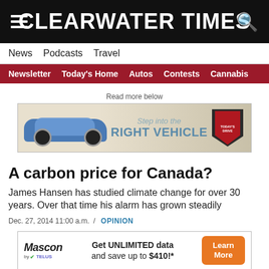CLEARWATER TIMES
News  Podcasts  Travel
Newsletter  Today's Home  Autos  Contests  Cannabis
Read more below
[Figure (advertisement): Car advertisement: 'Step into the RIGHT VEHICLE' with image of blue SUV and Today's Drive badge]
A carbon price for Canada?
James Hansen has studied climate change for over 30 years. Over that time his alarm has grown steadily
Dec. 27, 2014 11:00 a.m.  /  OPINION
[Figure (advertisement): Mascon by TELUS ad: 'Get UNLIMITED data and save up to $410!*' with Learn More button]